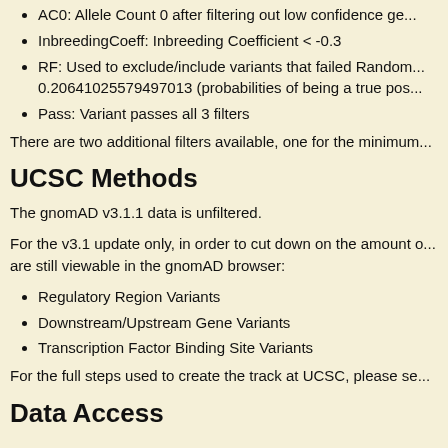AC0: Allele Count 0 after filtering out low confidence ge...
InbreedingCoeff: Inbreeding Coefficient < -0.3
RF: Used to exclude/include variants that failed Random... 0.20641025579497013 (probabilities of being a true pos...
Pass: Variant passes all 3 filters
There are two additional filters available, one for the minimum...
UCSC Methods
The gnomAD v3.1.1 data is unfiltered.
For the v3.1 update only, in order to cut down on the amount of... are still viewable in the gnomAD browser:
Regulatory Region Variants
Downstream/Upstream Gene Variants
Transcription Factor Binding Site Variants
For the full steps used to create the track at UCSC, please se...
Data Access